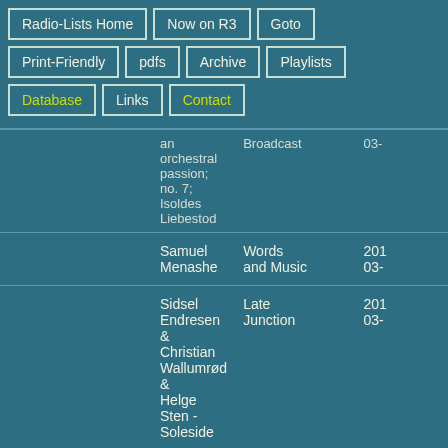Radio-Lists Home
Now on R3
Goto
Print-Friendly
pdfs
Archive
Playlists
Database
Links
Contact
| Artist/Work | Show | Date |
| --- | --- | --- |
| an orchestral passion; no. 7; Isoldes Liebestod | Broadcast | 03- |
| Samuel Menashe | Words and Music | 201 03- |
| Sidsel Endresen & Christian Wallumrød & Helge Sten - Soleside | Late Junction | 201 03- |
| Taraf de Haïdouks & Kočani Orkestar - Jarretelle (3:53) | World on 3 | 201 04- |